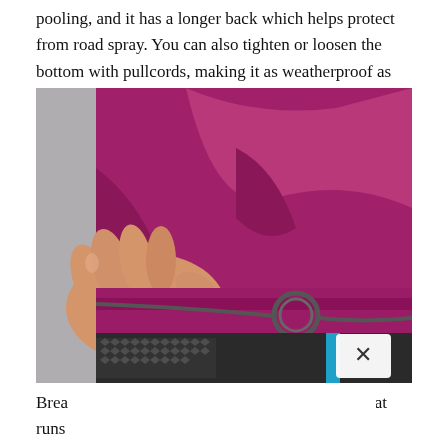pooling, and it has a longer back which helps protect from road spray. You can also tighten or loosen the bottom with pullcords, making it as weatherproof as possible.
[Figure (photo): Close-up photo of a hand pulling up a magenta/purple cycling jacket, showing the drawcord and ring toggle at the hem, with black cycling shorts visible underneath featuring a blue stripe and mesh texture.]
Breathability is another key factor, as a jacket that runs ... build-up to ... fairly breat...